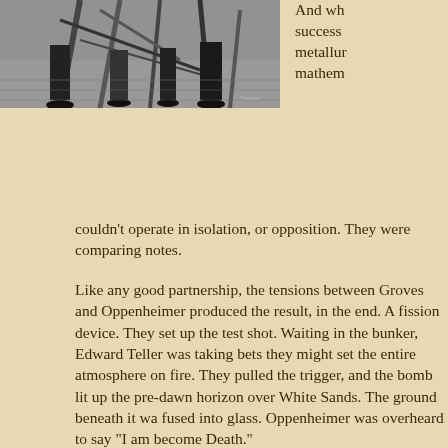[Figure (photo): Black and white photograph showing people's legs and feet, with metallic or wooden structural elements in the background, on a wooden floor.]
And wh... success... metallur... mathem...
couldn't operate in isolation, or opposition. They were comparing notes.

Like any good partnership, the tensions between Groves and Oppenheimer produced the result, in the end. A fission device. They set up the test shot. Waiting in the bunker, Edward Teller was taking bets they might set the entire atmosphere on fire. They pulled the trigger, and the bomb lit up the pre-dawn horizon over White Sands. The ground beneath it was fused into glass. Oppenheimer was overheard to say "I am become Death."

He opposed the actual use of the bomb, against